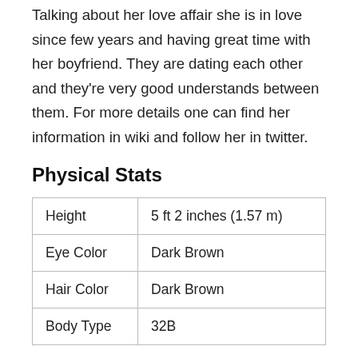Talking about her love affair she is in love since few years and having great time with her boyfriend. They are dating each other and they're very good understands between them. For more details one can find her information in wiki and follow her in twitter.
Physical Stats
| Height | 5 ft 2 inches (1.57 m) |
| Eye Color | Dark Brown |
| Hair Color | Dark Brown |
| Body Type | 32B |
Education